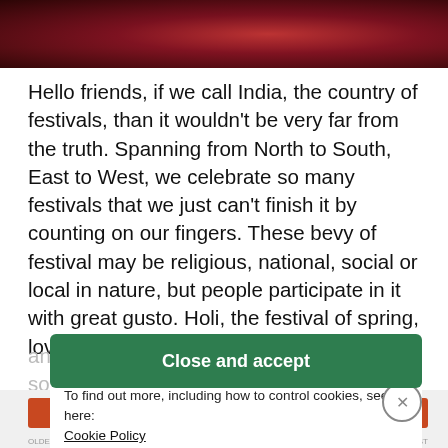[Figure (photo): Dark red/maroon abstract background image strip at top of page, appears to be blurred powder or smoke related to Holi festival]
Hello friends, if we call India, the country of festivals, than it wouldn't be very far from the truth. Spanning from North to South, East to West, we celebrate so many festivals that we just can't finish it by counting on our fingers. These bevy of festival may be religious, national, social or local in nature, but people participate in it with great gusto. Holi, the festival of spring, love
and colour also falls both in the category of socio religious. It's celebrated to felicitate the spring season, as there is profusion of colourful flowers all around. we make this occasion by smearing colour to deities and on each other.
Privacy & Cookies: This site uses cookies. By continuing to use this website, you agree to their use.
To find out more, including how to control cookies, see here:
Cookie Policy
Close and accept
[Figure (screenshot): Bottom navigation bar strip with orange and dark colored segments]